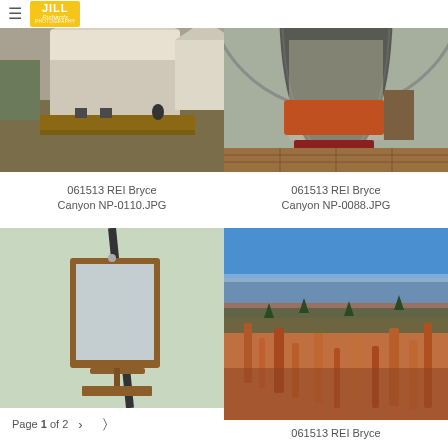≡ JILL Richards PHOTOGRAPHY
[Figure (photo): Glamping tents with wooden decks and camp chairs in an open field]
[Figure (photo): Interior of a large tent with orange accents, wooden floor, showing open door]
061513 REI Bryce Canyon NP-0110.JPG
061513 REI Bryce Canyon NP-0088.JPG
[Figure (photo): Inside a tent showing a wooden framed mirror on a stand with a small shelf]
[Figure (photo): Aerial view of Bryce Canyon with orange hoodoos, pine trees and blue sky]
Page 1 of 2  >  share
061513 REI Bryce